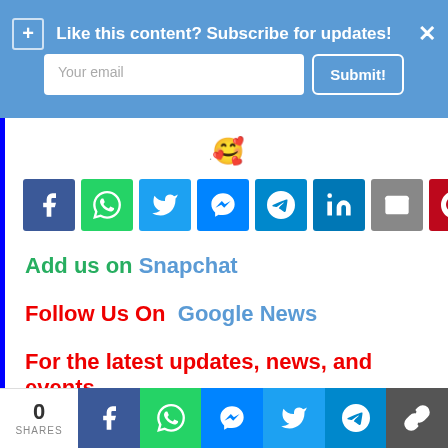[Figure (screenshot): Subscribe banner with email input field and Submit button on blue background, with plus icon and close button]
[Figure (infographic): Row of 8 social media share buttons: Facebook, WhatsApp, Twitter, Messenger, Telegram, LinkedIn, Email, Pinterest]
Add us on Snapchat
Follow Us On Google News
For the latest updates, news, and events
[Figure (screenshot): Bottom share bar showing 0 SHARES and social media icons: Facebook, WhatsApp, Messenger, Twitter, Telegram, Copy]